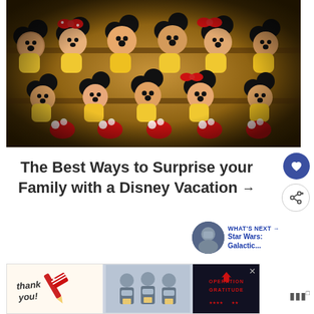[Figure (photo): Photo of many Mickey and Minnie Mouse plush toys/stuffed animals packed tightly on shelves, showing their yellow bodies, black ears, and red/white polka dot accessories, taken with a fisheye lens effect]
The Best Ways to Surprise your Family with a Disney Vacation →
[Figure (photo): What's Next thumbnail: circular photo of a person with face painted, linked to Star Wars: Galactic... article]
[Figure (photo): Advertisement banner showing 'Thank you!' with American flag pencil on left, healthcare workers in masks in middle, and Operation Gratitude logo on right]